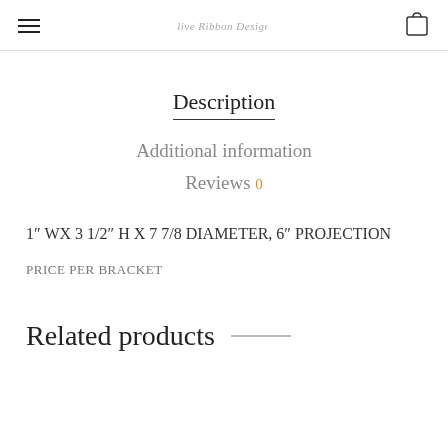≡  [logo: Olive Ribbon Designs]  [cart icon]
Description
Additional information
Reviews 0
1″ WX 3 1/2″ H X 7 7/8 DIAMETER, 6″ PROJECTION
PRICE PER BRACKET
Related products